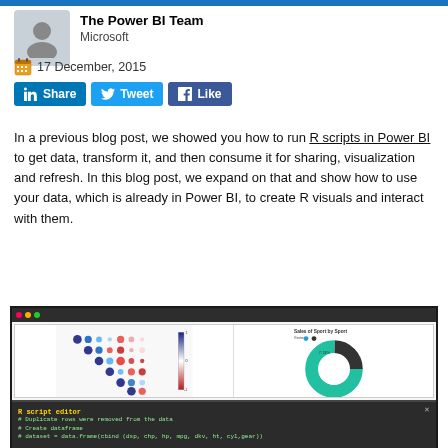[Figure (photo): Author avatar placeholder icon (grey silhouette)]
The Power BI Team
Microsoft
17 December, 2015
[Figure (infographic): Social sharing buttons: LinkedIn Share, Twitter Tweet, Facebook Like]
In a previous blog post, we showed you how to run R scripts in Power BI to get data, transform it, and then consume it for sharing, visualization and refresh. In this blog post, we expand on that and show how to use your data, which is already in Power BI, to create R visuals and interact with them.
[Figure (screenshot): Screenshot of Power BI dashboard showing a correlation matrix bubble chart on the left and a donut chart on the right, with an R script editor panel at the bottom showing green code on dark background.]